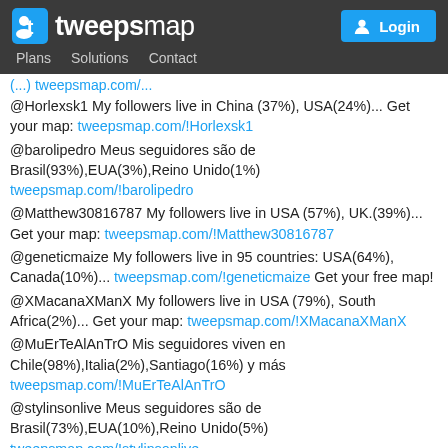tweepsmap — Plans | Solutions | Contact | Login
@Horlexsk1 My followers live in China (37%), USA(24%)... Get your map: tweepsmap.com/!Horlexsk1
@barolipedro Meus seguidores são de Brasil(93%),EUA(3%),Reino Unido(1%) tweepsmap.com/!barolipedro
@Matthew30816787 My followers live in USA (57%), UK.(39%)... Get your map: tweepsmap.com/!Matthew30816787
@geneticmaize My followers live in 95 countries: USA(64%), Canada(10%)... tweepsmap.com/!geneticmaize Get your free map!
@XMacanaXManX My followers live in USA (79%), South Africa(2%)... Get your map: tweepsmap.com/!XMacanaXManX
@MuErTeAlAnTrO Mis seguidores viven en Chile(98%),Italia(2%),Santiago(16%) y más tweepsmap.com/!MuErTeAlAnTrO
@stylinsonlive Meus seguidores são de Brasil(73%),EUA(10%),Reino Unido(5%) tweepsmap.com/!stylinsonlive
@ziguehi2705 Selon tweepsmap.com/!ziguehi2705 Mes abonnés vivent en: Côte-d'Ivoire(66%),France(20%),République démocratique du Congo(4%)
@Singh26Urmila My followers are in India(82%), USA(7%)... Get your map too: tweepsmap.com/!Singh26Urmila
@26may1982 My followers live in 65 countries: UK.(76%), USA(6%)... tweepsmap.com/!26may1982 Get your free map!
@SherlynJCR12 Mis seguidores viven en